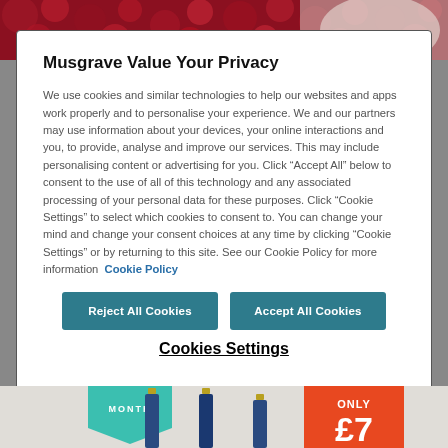[Figure (photo): Red/berry background image visible at top of page behind modal dialog]
Musgrave Value Your Privacy
We use cookies and similar technologies to help our websites and apps work properly and to personalise your experience. We and our partners may use information about your devices, your online interactions and you, to provide, analyse and improve our services. This may include personalising content or advertising for you. Click “Accept All” below to consent to the use of all of this technology and any associated processing of your personal data for these purposes. Click “Cookie Settings” to select which cookies to consent to. You can change your mind and change your consent choices at any time by clicking “Cookie Settings” or by returning to this site. See our Cookie Policy for more information  Cookie Policy
Reject All Cookies
Accept All Cookies
Cookies Settings
[Figure (photo): Bottom section showing wine bottles with teal banner reading MONTH and orange banner reading ONLY £7]